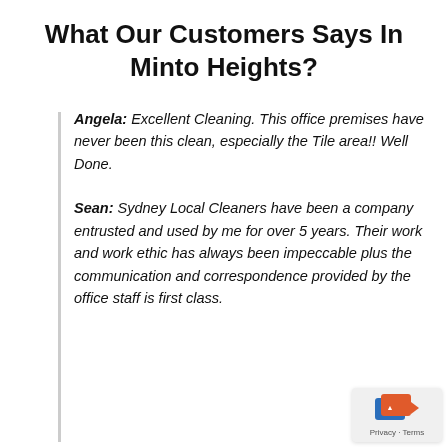What Our Customers Says In Minto Heights?
Angela: Excellent Cleaning. This office premises have never been this clean, especially the Tile area!! Well Done.
Sean: Sydney Local Cleaners have been a company entrusted and used by me for over 5 years. Their work and work ethic has always been impeccable plus the communication and correspondence provided by the office staff is first class.